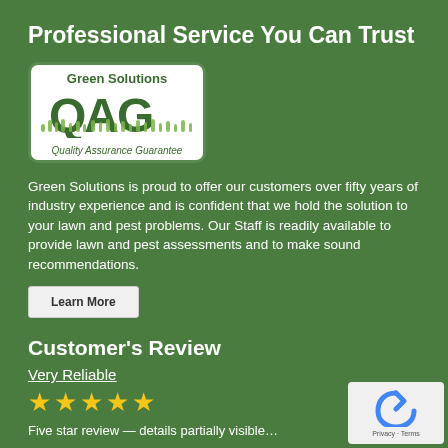Professional Service You Can Trust
[Figure (logo): Green Solutions QAG Quality Assurance Guarantee logo — white rounded rectangle with green text and grass illustration]
Quality Assurance Guarantee
Green Solutions is proud to offer our customers over fifty years of industry experience and is confident that we hold the solution to your lawn and pest problems. Our Staff is readily available to provide lawn and pest assessments and to make sound recommendations.
Learn More
Customer's Review
Very Reliable
★★★★★
Five star review snippet (partially visible)
[Figure (logo): reCAPTCHA logo with Privacy and Terms text]